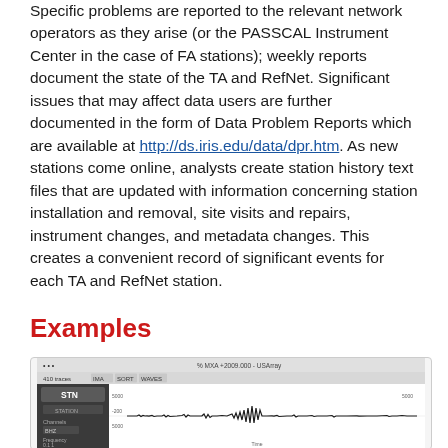Specific problems are reported to the relevant network operators as they arise (or the PASSCAL Instrument Center in the case of FA stations); weekly reports document the state of the TA and RefNet. Significant issues that may affect data users are further documented in the form of Data Problem Reports which are available at http://ds.iris.edu/data/dpr.htm. As new stations come online, analysts create station history text files that are updated with information concerning station installation and removal, site visits and repairs, instrument changes, and metadata changes. This creates a convenient record of significant events for each TA and RefNet station.
Examples
[Figure (screenshot): Screenshot of a seismogram viewer application showing waveform data. The interface has a left panel labeled STN with controls, and a main waveform display area showing seismic waveforms with amplitude variations.]